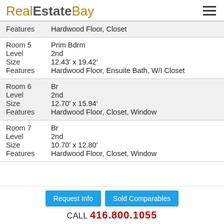RealEstateBay
| Features | Hardwood Floor, Closet |
| Room 5 | Prim Bdrm |
| Level | 2nd |
| Size | 12.43' x 19.42' |
| Features | Hardwood Floor, Ensuite Bath, W/I Closet |
| Room 6 | Br |
| Level | 2nd |
| Size | 12.70' x 15.94' |
| Features | Hardwood Floor, Closet, Window |
| Room 7 | Br |
| Level | 2nd |
| Size | 10.70' x 12.80' |
| Features | Hardwood Floor, Closet, Window |
Request Info | Sold Comparables
CALL 416.800.1055